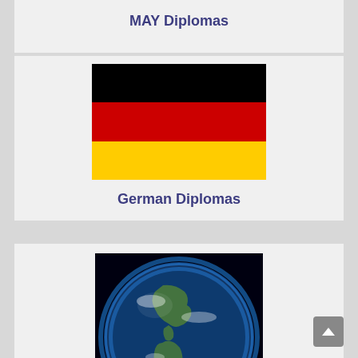MAY Diplomas
[Figure (illustration): German national flag with horizontal stripes: black on top, red in the middle, gold/yellow on the bottom]
German Diplomas
[Figure (photo): Photo of planet Earth from space showing North and South America with blue glow/atmosphere]